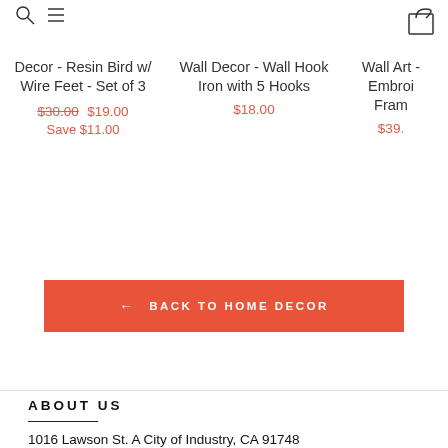[Figure (illustration): Search and hamburger menu icons at top left, partially cropped]
[Figure (illustration): Shopping bag / cart icon at top right, partially cropped]
Decor - Resin Bird w/ Wire Feet - Set of 3
$30.00 $19.00 Save $11.00
Wall Decor - Wall Hook Iron with 5 Hooks
$18.00
Wall Art - Embroi... Fram...
$39...
← BACK TO HOME DECOR
ABOUT US
1016 Lawson St. A City of Industry, CA 91748
hello@cottonwoodhome.com